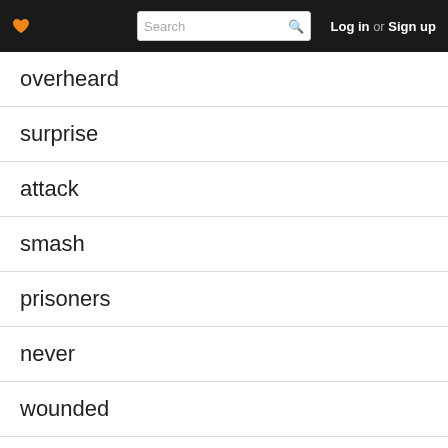Search | Log in or Sign up
overheard
surprise
attack
smash
prisoners
never
wounded
myself
sentries